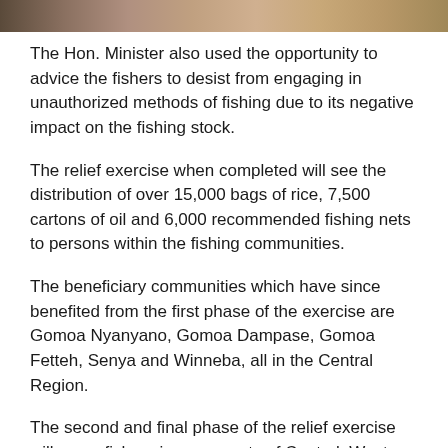[Figure (photo): Partial image strip at the top of the page showing a cropped photograph]
The Hon. Minister also used the opportunity to advice the fishers to desist from engaging in unauthorized methods of fishing due to its negative impact on the fishing stock.
The relief exercise when completed will see the distribution of over 15,000 bags of rice, 7,500 cartons of oil and 6,000 recommended fishing nets to persons within the fishing communities.
The beneficiary communities which have since benefited from the first phase of the exercise are Gomoa Nyanyano, Gomoa Dampase, Gomoa Fetteh, Senya and Winneba, all in the Central Region.
The second and final phase of the relief exercise will cover fishers in some parts of Central, Western, Volta and Greater Accra Regions. End.